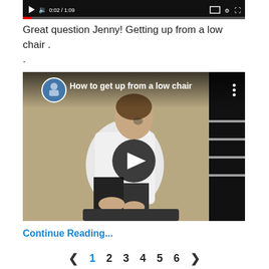[Figure (screenshot): Video player top bar showing play button, volume icon, time 0:02/1:09, and player control icons on black background]
Great question Jenny! Getting up from a low chair .
.
[Figure (screenshot): YouTube video thumbnail showing 'How to get up from a low chair' with a person sitting on a low stool demonstrating the technique, with circular avatar, title text, play button overlay]
Continue Reading...
< 1 2 3 4 5 6 >